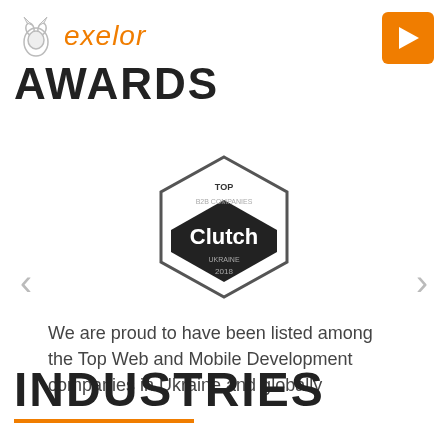Aexelor
AWARDS
[Figure (logo): Clutch Top B2B Companies Ukraine 2018 hexagonal badge in black and white]
We are proud to have been listed among the Top Web and Mobile Development companies in Ukraine and globally
INDUSTRIES